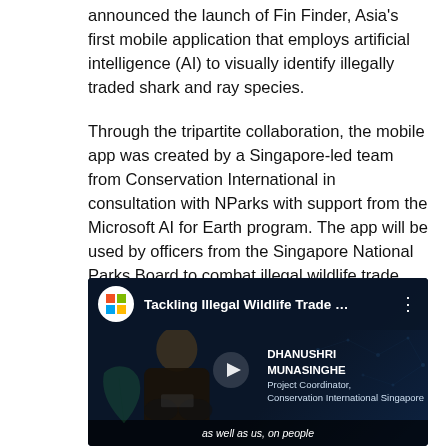announced the launch of Fin Finder, Asia's first mobile application that employs artificial intelligence (AI) to visually identify illegally traded shark and ray species.
Through the tripartite collaboration, the mobile app was created by a Singapore-led team from Conservation International in consultation with NParks with support from the Microsoft AI for Earth program. The app will be used by officers from the Singapore National Parks Board to combat illegal wildlife trade.
[Figure (screenshot): YouTube-style video thumbnail with dark blue background showing a person being interviewed, Microsoft logo in top left circle, title 'Tackling Illegal Wildlife Trade ...' on top bar, name card showing 'DHANUSHRI MUNASINGHE, Project Coordinator, Conservation International Singapore', play button in center, and subtitle text 'as well as us, on people' at the bottom.]